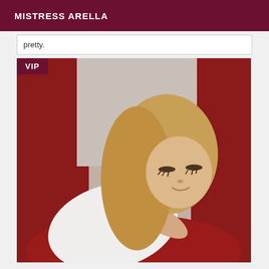MISTRESS ARELLA
pretty.
[Figure (photo): A blonde woman in a white top lying on a red sofa, looking down with a smile. A 'VIP' badge is overlaid in the top-left corner of the image.]